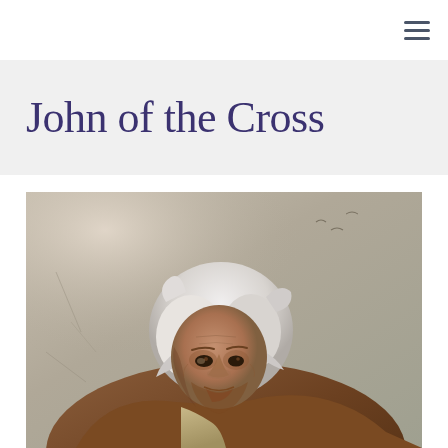☰
John of the Cross
[Figure (illustration): A painting of an elderly man with white hair, leaning forward, wearing a brown robe or cloak, against a muted stone-coloured background.]